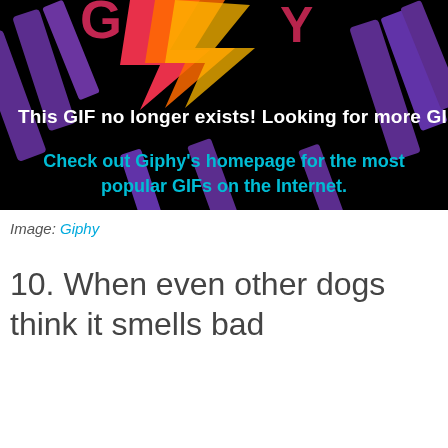[Figure (screenshot): Giphy error page screenshot showing 'This GIF no longer exists! Looking for more GI...' in white bold text and 'Check out Giphy's homepage for the most popular GIFs on the Internet.' in cyan bold text, on a black background with purple decorative letters and colorful lightning bolt graphic.]
Image: Giphy
10. When even other dogs think it smells bad